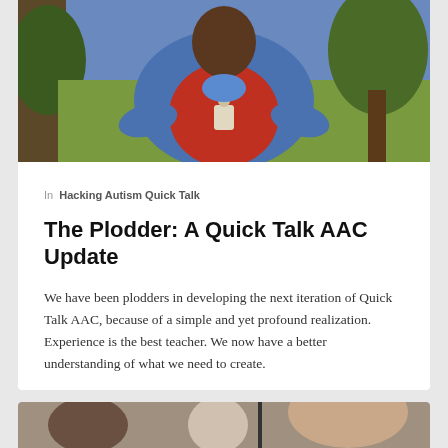[Figure (photo): Hero image of a person wearing a red vest and blue jacket outdoors near a tree]
In  Hacking Autism Quick Talk
The Plodder: A Quick Talk AAC Update
We have been plodders in developing the next iteration of Quick Talk AAC, because of a simple and yet profound realization. Experience is the best teacher. We now have a better understanding of what we need to create.
[Figure (photo): Circular avatar photo of author Russ Ewell]
Russ Ewell
October 11, 2012
[Figure (photo): Partial view of a second article's hero image at the bottom of the page]